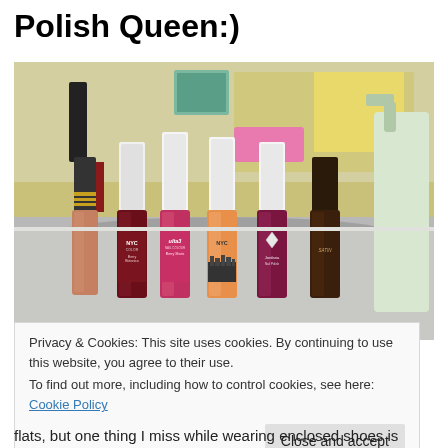Polish Queen:)
[Figure (photo): Six nail polish bottles lined up on a bathroom sink counter. Brands visible include NYC Color (Berry Botanica), ulta3 (Berry Shots), NYC (orange/peach color), Jordana (red/burgundy), and Satin (dark brown). Bottles have white caps. Background shows a bathroom mirror and some items on the counter.]
Privacy & Cookies: This site uses cookies. By continuing to use this website, you agree to their use.
To find out more, including how to control cookies, see here: Cookie Policy
flats, but one thing I miss while wearing enclosed shoes is